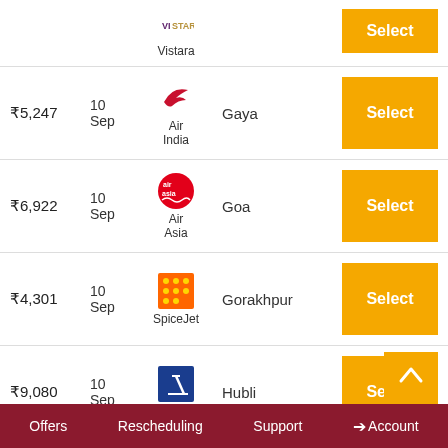Vistara — Select
₹5,247 | 10 Sep | Air India | Gaya | Select
₹6,922 | 10 Sep | Air Asia | Goa | Select
₹4,301 | 10 Sep | SpiceJet | Gorakhpur | Select
₹9,080 | 10 Sep | Indigo | Hubli | Select
₹5,428 | 10 Sep | Air Asia | Hyderabad | Select
₹1,1__ | 10 | Indigo | Jab... | Select (partial)
Offers   Rescheduling   Support   →Account